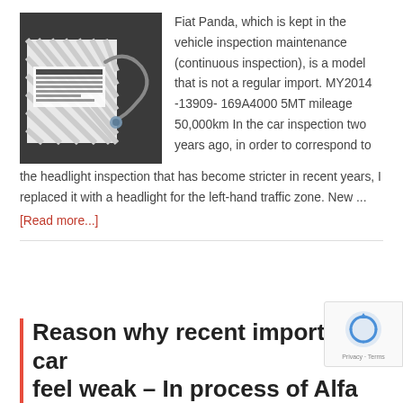[Figure (photo): Photo of a car part (wire/cable) next to a striped box with barcode label, placed on dark surface]
Fiat Panda, which is kept in the vehicle inspection maintenance (continuous inspection), is a model that is not a regular import. MY2014 -13909- 169A4000 5MT mileage 50,000km In the car inspection two years ago, in order to correspond to the headlight inspection that has become stricter in recent years, I replaced it with a headlight for the left-hand traffic zone. New ...
[Read more...]
Reason why recent imported car feel weak – In process of Alfa